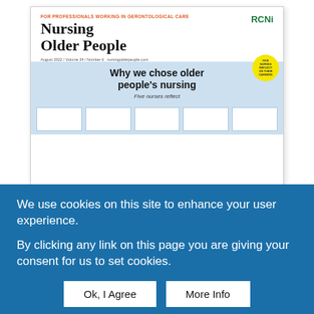[Figure (illustration): Magazine cover thumbnail for 'Nursing Older People' by RCNi. Shows the journal title in large serif font, tagline 'FOR PROFESSIONALS WORKING IN GERONTOLOGICAL CARE', RCNi logo in green at top right. Blue section below with headline 'Why we chose older people's nursing' and subheading 'Five nurses reflect'. Yellow circular badge at top right of blue section. Row of white photo placeholder boxes at the bottom.]
We use cookies on this site to enhance your user experience.
By clicking any link on this page you are giving your consent for us to set cookies.
Ok, I Agree
More Info